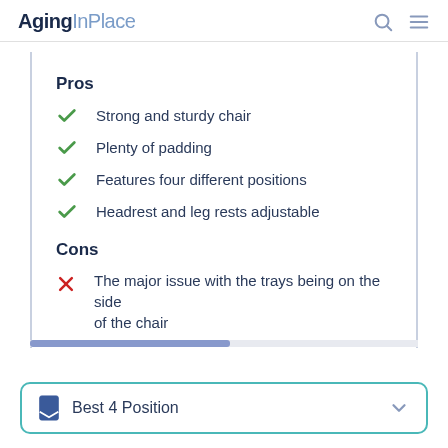AgingInPlace
Pros
Strong and sturdy chair
Plenty of padding
Features four different positions
Headrest and leg rests adjustable
Cons
The major issue with the trays being on the side of the chair
Best 4 Position